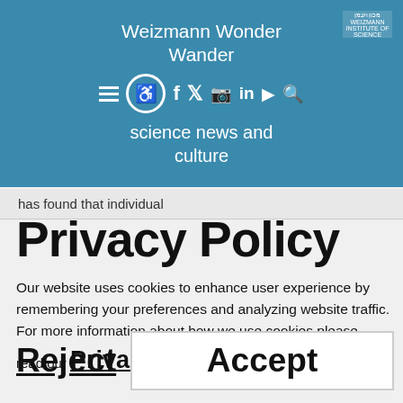Weizmann Wonder Wander — science news and culture
has found that individual
Privacy Policy
Our website uses cookies to enhance user experience by remembering your preferences and analyzing website traffic.
For more information about how we use cookies please read our Privacy Policy
Reject  Accept